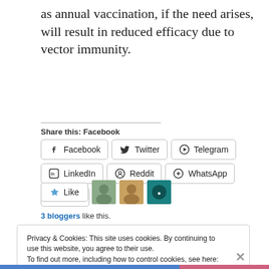as annual vaccination, if the need arises, will result in reduced efficacy due to vector immunity.
Share this: Facebook
[Figure (screenshot): Social share buttons: Facebook, Twitter, Telegram, LinkedIn, Reddit, WhatsApp, More]
[Figure (screenshot): Like button with star icon and three blogger avatars]
3 bloggers like this.
Privacy & Cookies: This site uses cookies. By continuing to use this website, you agree to their use. To find out more, including how to control cookies, see here: Cookie Policy
Close and accept